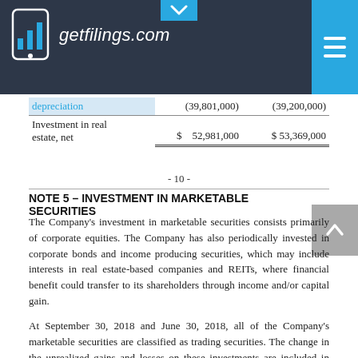getfilings.com
|  |  |  |
| --- | --- | --- |
| depreciation | (39,801,000) | (39,200,000) |
| Investment in real estate, net | $ 52,981,000 | $ 53,369,000 |
- 10 -
NOTE 5 – INVESTMENT IN MARKETABLE SECURITIES
The Company's investment in marketable securities consists primarily of corporate equities. The Company has also periodically invested in corporate bonds and income producing securities, which may include interests in real estate-based companies and REITs, where financial benefit could transfer to its shareholders through income and/or capital gain.
At September 30, 2018 and June 30, 2018, all of the Company's marketable securities are classified as trading securities. The change in the unrealized gains and losses on these investments are included in earnings. Trading